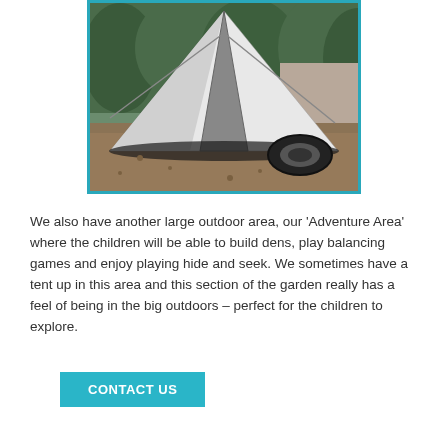[Figure (photo): A white teepee-style tent set up outdoors on gravel ground with a rubber tyre beside it and trees/bushes in the background. The photo has a teal/cyan border.]
We also have another large outdoor area, our 'Adventure Area' where the children will be able to build dens, play balancing games and enjoy playing hide and seek. We sometimes have a tent up in this area and this section of the garden really has a feel of being in the big outdoors – perfect for the children to explore.
CONTACT US